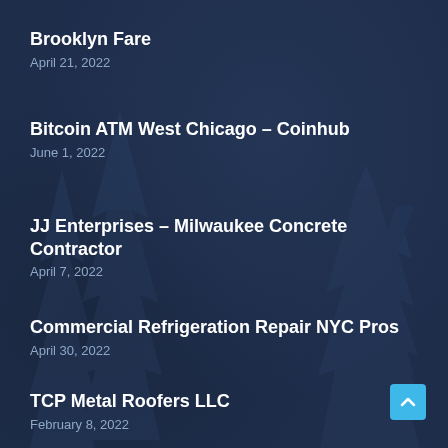Brooklyn Fare
April 21, 2022
Bitcoin ATM West Chicago – Coinhub
June 1, 2022
JJ Enterprises – Milwaukee Concrete Contractor
April 7, 2022
Commercial Refrigeration Repair NYC Pros
April 30, 2022
TCP Metal Roofers LLC
February 8, 2022